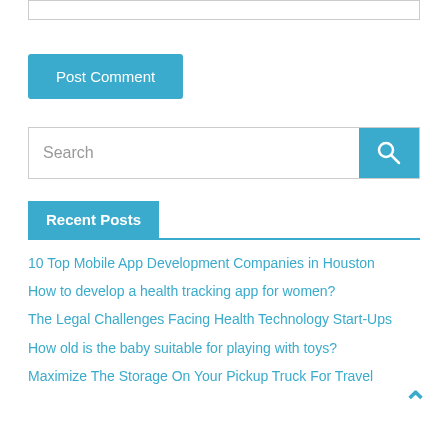[Figure (other): Partial input box at top of page]
Post Comment
[Figure (other): Search input field with search button]
Recent Posts
10 Top Mobile App Development Companies in Houston
How to develop a health tracking app for women?
The Legal Challenges Facing Health Technology Start-Ups
How old is the baby suitable for playing with toys?
Maximize The Storage On Your Pickup Truck For Travel